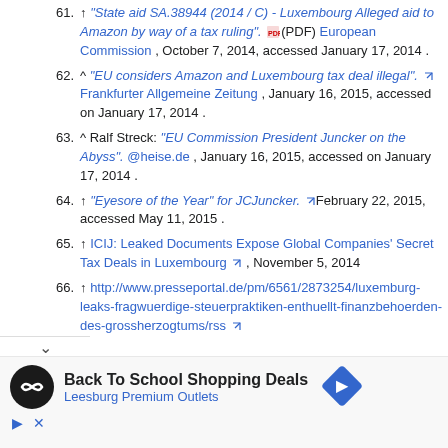61. ↑ "State aid SA.38944 (2014 / C) - Luxembourg Alleged aid to Amazon by way of a tax ruling". (PDF) European Commission , October 7, 2014, accessed January 17, 2014 .
62. ^ "EU considers Amazon and Luxembourg tax deal illegal". Frankfurter Allgemeine Zeitung , January 16, 2015, accessed on January 17, 2014 .
63. ^ Ralf Streck: "EU Commission President Juncker on the Abyss". @heise.de , January 16, 2015, accessed on January 17, 2014 .
64. ↑ "Eyesore of the Year" for JCJuncker. @February 22, 2015, accessed May 11, 2015 .
65. ↑ ICIJ: Leaked Documents Expose Global Companies' Secret Tax Deals in Luxembourg , November 5, 2014
66. ↑ http://www.presseportal.de/pm/6561/2873254/luxemburg-leaks-fragwuerdige-steuerpraktiken-enthuellt-finanzbehoerden-des-grossherzogtums/rss
[Figure (infographic): Advertisement banner: Back To School Shopping Deals - Leesburg Premium Outlets, with circular logo and blue diamond arrow icon, plus small play and X icons below]